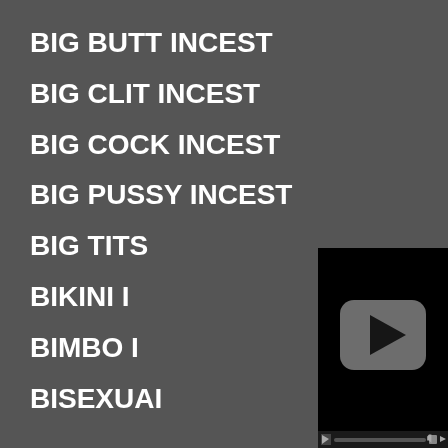BIG BUTT INCEST
BIG CLIT INCEST
BIG COCK INCEST
BIG PUSSY INCEST
BIG TITS INCEST
BIKINI INCEST
BIMBO INCEST
BISEXUAL INCEST
[Figure (screenshot): Video player with black background, gray rounded play button in center, and progress bar at bottom]